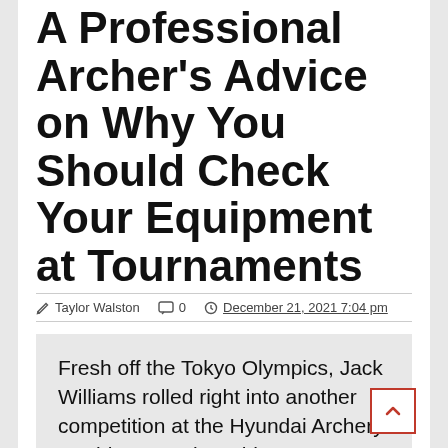A Professional Archer's Advice on Why You Should Check Your Equipment at Tournaments
Taylor Walston   0   December 21, 2021 7:04 pm
Fresh off the Tokyo Olympics, Jack Williams rolled right into another competition at the Hyundai Archery World Cup and World Championships